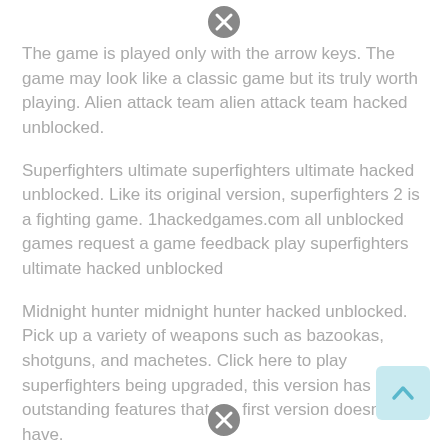[Figure (other): Close/cancel circle icon (X button) at top center]
The game is played only with the arrow keys. The game may look like a classic game but its truly worth playing. Alien attack team alien attack team hacked unblocked.
Superfighters ultimate superfighters ultimate hacked unblocked. Like its original version, superfighters 2 is a fighting game. 1hackedgames.com all unblocked games request a game feedback play superfighters ultimate hacked unblocked
Midnight hunter midnight hunter hacked unblocked. Pick up a variety of weapons such as bazookas, shotguns, and machetes. Click here to play superfighters being upgraded, this version has many outstanding features that the first version doesn’t have.
[Figure (other): Scroll-up button (arrow pointing up) at bottom right]
[Figure (other): Close/cancel circle icon (X button) at bottom center]